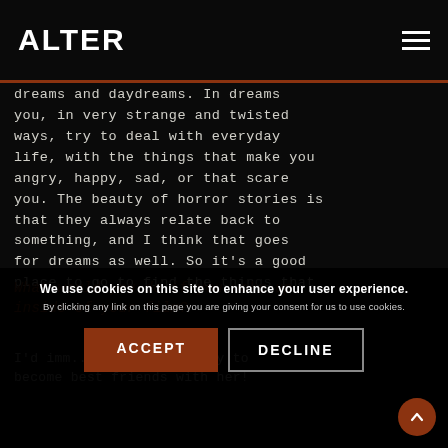ALTER
dreams and daydreams. In dreams you, in very strange and twisted ways, try to deal with everyday life, with the things that make you angry, happy, sad, or that scare you. The beauty of horror stories is that they always relate back to something, and I think that goes for dreams as well. So it's a good place to go to find the things that are important to you.
We use cookies on this site to enhance your user experience. By clicking any link on this page you are giving your consent for us to use cookies.
What would you do if you woke up inside of your film?
I'd imm... and I'll... try to become best friends with her!